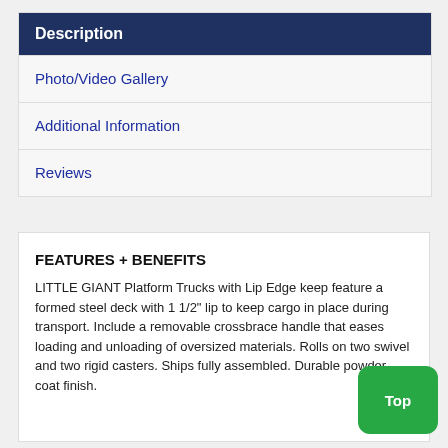Description
Photo/Video Gallery
Additional Information
Reviews
FEATURES + BENEFITS
LITTLE GIANT Platform Trucks with Lip Edge keep feature a formed steel deck with 1 1/2" lip to keep cargo in place during transport. Include a removable crossbrace handle that eases loading and unloading of oversized materials. Rolls on two swivel and two rigid casters. Ships fully assembled. Durable powder coat finish.